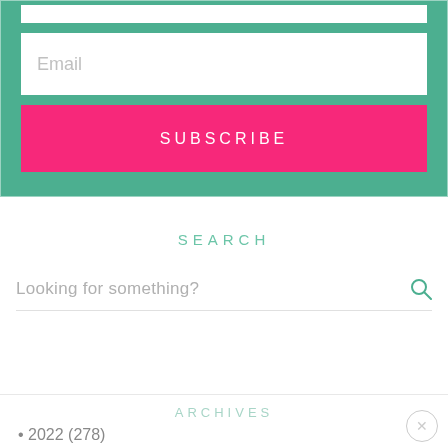Email
SUBSCRIBE
SEARCH
Looking for something?
ARCHIVES
2022 (278)